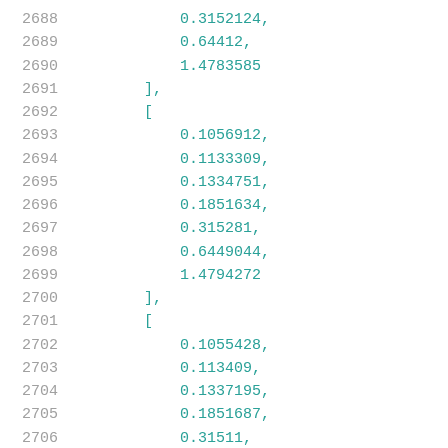2688    0.3152124,
2689    0.64412,
2690    1.4783585
2691    ],
2692    [
2693        0.1056912,
2694        0.1133309,
2695        0.1334751,
2696        0.1851634,
2697        0.315281,
2698        0.6449044,
2699        1.4794272
2700    ],
2701    [
2702        0.1055428,
2703        0.113409,
2704        0.1337195,
2705        0.1851687,
2706        0.31511,
2707        0.6442786,
2708        1.4775895